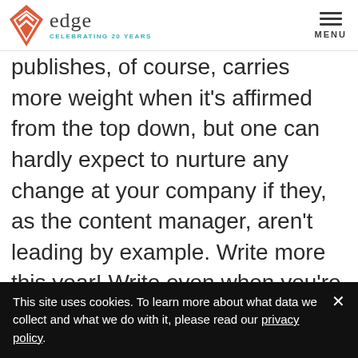edge CELEBRATING 20 YEARS | MENU
publishes, of course, carries more weight when it's affirmed from the top down, but one can hardly expect to nurture any change at your company if they, as the content manager, aren't leading by example. Write more this year! Write even when you're not on the content schedule,
This site uses cookies. To learn more about what data we collect and what we do with it, please read our privacy policy.